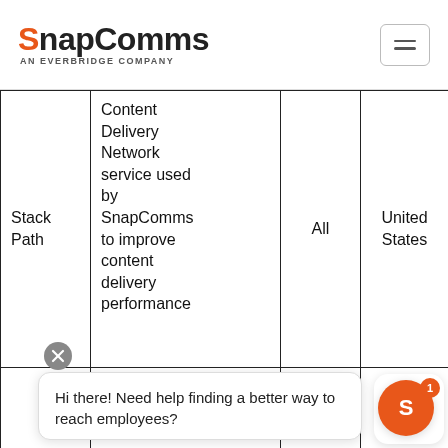SnapComms AN EVERBRIDGE COMPANY
| Provider | Description | Scope | Location |
| --- | --- | --- | --- |
| Stack Path | Content Delivery Network service used by SnapComms to improve content delivery performance | All | United States |
Hi there! Need help finding a better way to reach employees?